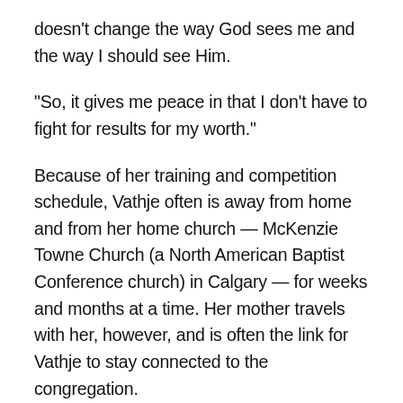doesn’t change the way God sees me and the way I should see Him.
“So, it gives me peace in that I don’t have to fight for results for my worth.”
Because of her training and competition schedule, Vathje often is away from home and from her home church — McKenzie Towne Church (a North American Baptist Conference church) in Calgary — for weeks and months at a time. Her mother travels with her, however, and is often the link for Vathje to stay connected to the congregation.
“She’s the one who’s sending out the prayer requests to ladies or men who need to be praying for me, and the men in the church